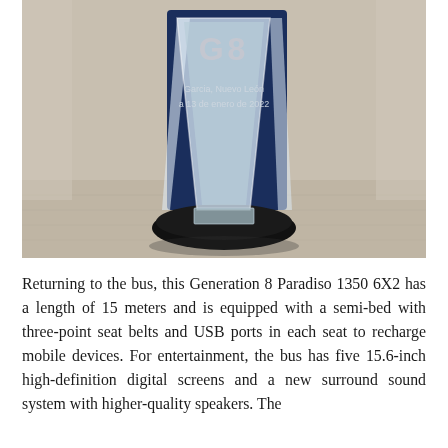[Figure (photo): A photograph of a crystal/glass award trophy with a dark blue backing panel. The trophy reads 'G8' at the top and below it 'Garcia, Nuevo León a 13 de enero de 2022'. The trophy sits on a black circular base on a wooden surface.]
Returning to the bus, this Generation 8 Paradiso 1350 6X2 has a length of 15 meters and is equipped with a semi-bed with three-point seat belts and USB ports in each seat to recharge mobile devices. For entertainment, the bus has five 15.6-inch high-definition digital screens and a new surround sound system with higher-quality speakers. The